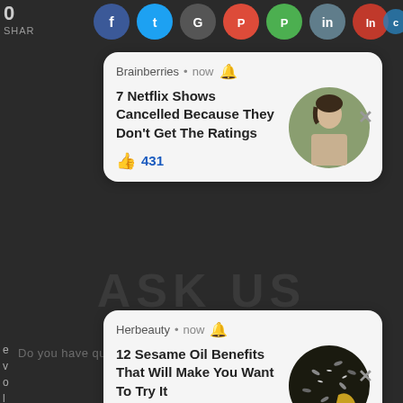[Figure (screenshot): Dark website background with social share icons at top, 'ASK US' large text overlay, and vertical letters on left side]
[Figure (screenshot): Notification card from Brainberries: '7 Netflix Shows Cancelled Because They Don't Get The Ratings' with 431 likes and a circular photo of a young person]
[Figure (screenshot): Notification card from Herbeauty: '12 Sesame Oil Benefits That Will Make You Want To Try It' with 279 likes and a circular photo of sesame seeds]
TAP HERE TO ASK:
No Thanks!